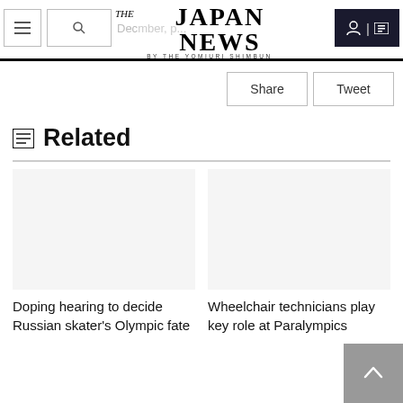The Japan News — By The Yomiuri Shimbun
Related
Doping hearing to decide Russian skater's Olympic fate
Wheelchair technicians play key role at Paralympics